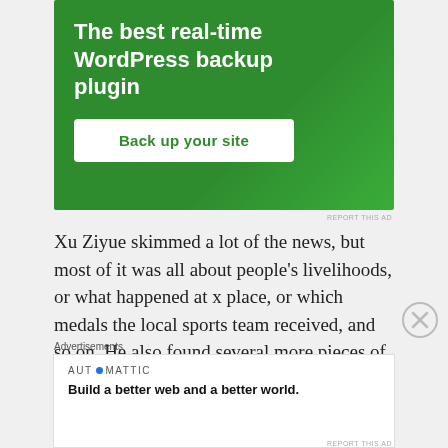[Figure (other): Green advertisement banner for WordPress backup plugin with headline 'The best real-time WordPress backup plugin' and a white button 'Back up your site']
REPORT THIS AD
Xu Ziyue skimmed a lot of the news, but most of it was all about people's livelihoods, or what happened at x place, or which medals the local sports team received, and so on. He also found several more pieces of news related to the city of Shangyang, including one that discussed a teenage trafficking circle which had been uncovered more
[Figure (other): Close/dismiss button (circled X icon)]
Advertisements
[Figure (other): Automattic advertisement: 'Build a better web and a better world.']
REPORT THIS AD